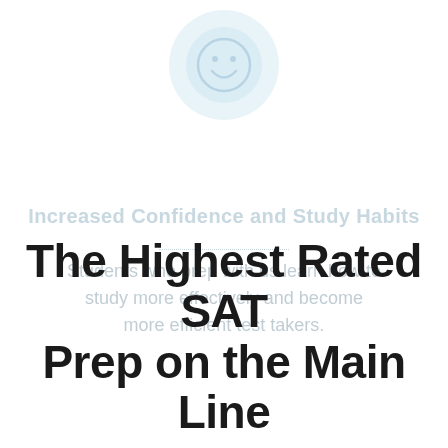[Figure (illustration): Light blue circle with a smiley face icon in the center]
Increased Confidence and Study Habits
Students who prep with us learn how to study more effectively and become more efficient test takers.
The Highest Rated SAT Prep on the Main Line